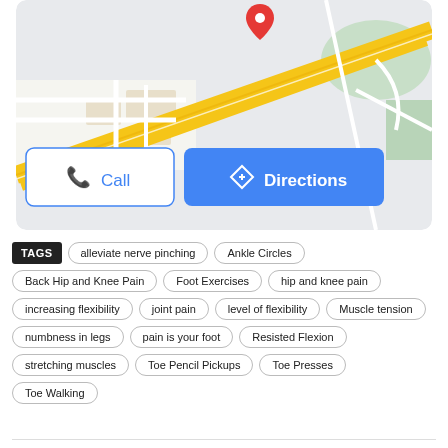[Figure (map): Google Maps screenshot showing a location with a red pin marker, roads including a major yellow highway diagonal, and Call/Directions buttons overlaid at the bottom]
TAGS  alleviate nerve pinching  Ankle Circles  Back Hip and Knee Pain  Foot Exercises  hip and knee pain  increasing flexibility  joint pain  level of flexibility  Muscle tension  numbness in legs  pain is your foot  Resisted Flexion  stretching muscles  Toe Pencil Pickups  Toe Presses  Toe Walking